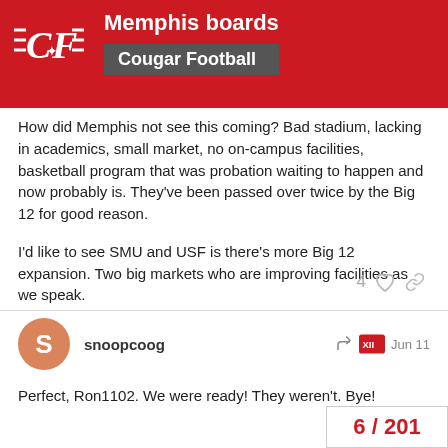Memphis boards — Cougar Football
How did Memphis not see this coming? Bad stadium, lacking in academics, small market, no on-campus facilities, basketball program that was probation waiting to happen and now probably is. They've been passed over twice by the Big 12 for good reason.

I'd like to see SMU and USF is there's more Big 12 expansion. Two big markets who are improving facilities as we speak.
snoopcoog — Jun 11
Perfect, Ron1102. We were ready! They weren't. Bye!
6 / 201